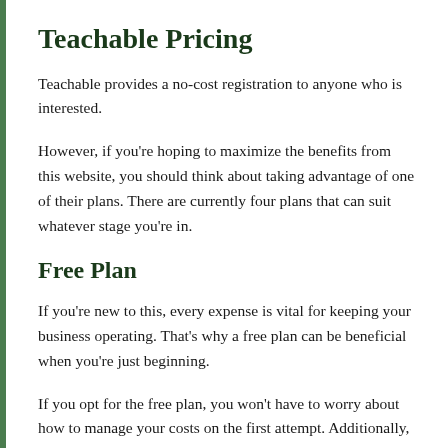Teachable Pricing
Teachable provides a no-cost registration to anyone who is interested.
However, if you're hoping to maximize the benefits from this website, you should think about taking advantage of one of their plans. There are currently four plans that can suit whatever stage you're in.
Free Plan
If you're new to this, every expense is vital for keeping your business operating. That's why a free plan can be beneficial when you're just beginning.
If you opt for the free plan, you won't have to worry about how to manage your costs on the first attempt. Additionally, it